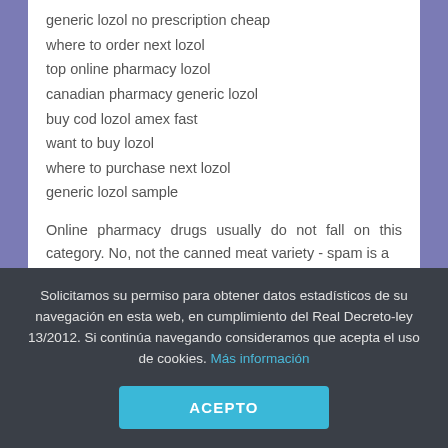generic lozol no prescription cheap
where to order next lozol
top online pharmacy lozol
canadian pharmacy generic lozol
buy cod lozol amex fast
want to buy lozol
where to purchase next lozol
generic lozol sample
Online pharmacy drugs usually do not fall on this category. No, not the canned meat variety - spam is a
Solicitamos su permiso para obtener datos estadísticos de su navegación en esta web, en cumplimiento del Real Decreto-ley 13/2012. Si continúa navegando consideramos que acepta el uso de cookies. Más información
ACEPTO